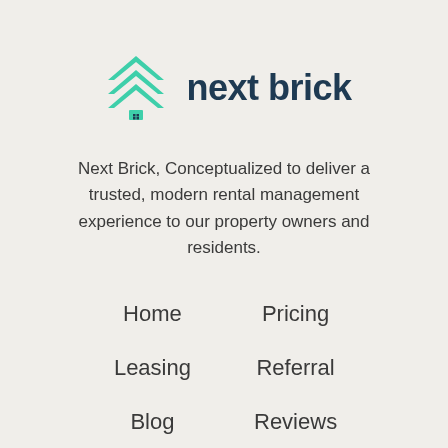[Figure (logo): Next Brick logo: teal/green double chevron arrow above a house icon, with 'next brick' text in dark navy bold font to the right]
Next Brick, Conceptualized to deliver a trusted, modern rental management experience to our property owners and residents.
Home
Pricing
Leasing
Referral
Blog
Reviews